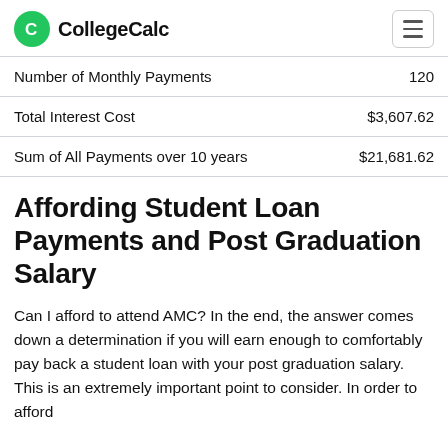CollegeCalc
| Number of Monthly Payments | 120 |
| Total Interest Cost | $3,607.62 |
| Sum of All Payments over 10 years | $21,681.62 |
Affording Student Loan Payments and Post Graduation Salary
Can I afford to attend AMC? In the end, the answer comes down a determination if you will earn enough to comfortably pay back a student loan with your post graduation salary. This is an extremely important point to consider. In order to afford